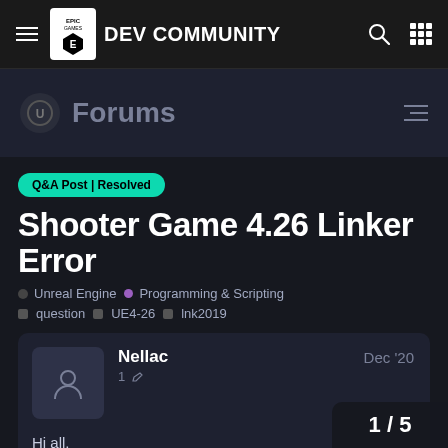Epic Games DEV COMMUNITY
Forums
Q&A Post | Resolved
Shooter Game 4.26 Linker Error
Unreal Engine • Programming & Scripting
question  UE4-26  lnk2019
Nellac  1  Dec '20
Hi all,
Since I switched the Shooter Game engine version to 4.26, I've been getting a strange following disc...
1 / 5